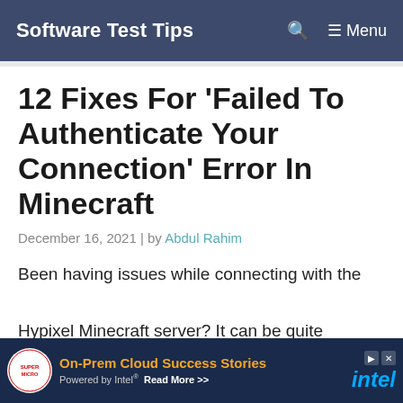Software Test Tips  🔍  ☰ Menu
12 Fixes For 'Failed To Authenticate Your Connection' Error In Minecraft
December 16, 2021 | by Abdul Rahim
Been having issues while connecting with the Hypixel Minecraft server? It can be quite ann…
[Figure (other): Advertisement banner: Supermicro logo, 'On-Prem Cloud Success Stories Powered by Intel® Read More >>' with Intel logo]